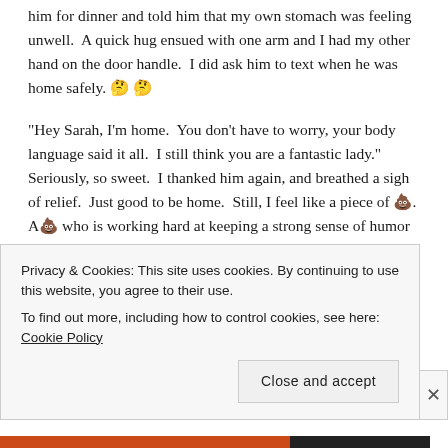him for dinner and told him that my own stomach was feeling unwell.  A quick hug ensued with one arm and I had my other hand on the door handle.  I did ask him to text when he was home safely. 🤔 🤔
"Hey Sarah, I'm home.  You don't have to worry, your body language said it all.  I still think you are a fantastic lady."  Seriously, so sweet.  I thanked him again, and breathed a sigh of relief.  Just good to be home.  Still, I feel like a piece of 💩. A💩 who is working hard at keeping a strong sense of humor about this whole journey!
Privacy & Cookies: This site uses cookies. By continuing to use this website, you agree to their use.
To find out more, including how to control cookies, see here: Cookie Policy
Close and accept